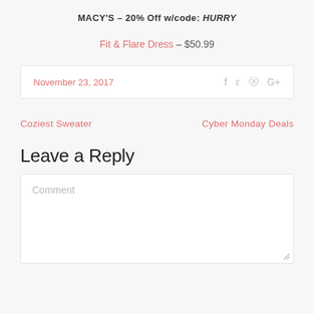MACY'S – 20% Off w/code: HURRY
Fit & Flare Dress – $50.99
November 23, 2017
Coziest Sweater
Cyber Monday Deals
Leave a Reply
Comment